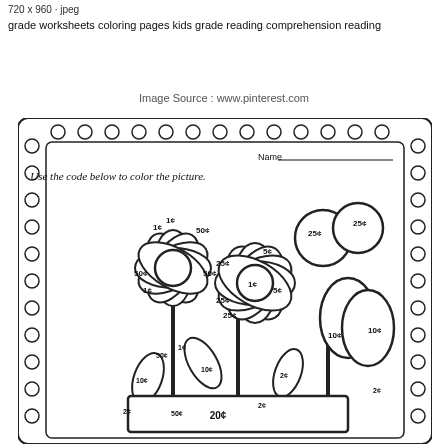720 x 960 · jpeg
grade worksheets coloring pages kids grade reading comprehension reading
Image Source : www.pinterest.com
[Figure (illustration): A kids' math coloring worksheet showing flowers in a vase with coin values labeled (1¢, 2¢, 5¢, 10¢, 20¢, 25¢, 50¢) on the petals, leaves, and pot. Instructions read: 'Use the code below to color the picture.' The worksheet has a decorative border of circles. Name line at top.]